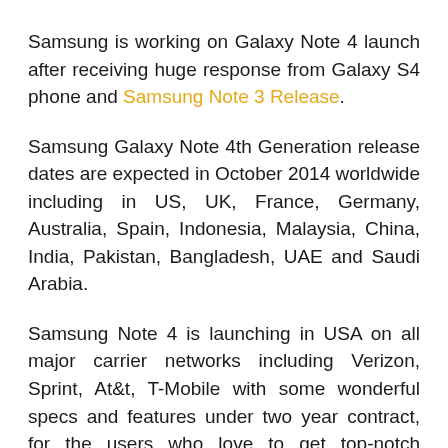Samsung is working on Galaxy Note 4 launch after receiving huge response from Galaxy S4 phone and Samsung Note 3 Release.
Samsung Galaxy Note 4th Generation release dates are expected in October 2014 worldwide including in US, UK, France, Germany, Australia, Spain, Indonesia, Malaysia, China, India, Pakistan, Bangladesh, UAE and Saudi Arabia.
Samsung Note 4 is launching in USA on all major carrier networks including Verizon, Sprint, At&t, T-Mobile with some wonderful specs and features under two year contract, for the users who love to get top-notch Samsung Note 4, but can not afford huge $800 damage to their pocket all at once.
The life of every good smartphones comes to an end at some point and the Samsung Galaxy Note 3 is likely to be replaced